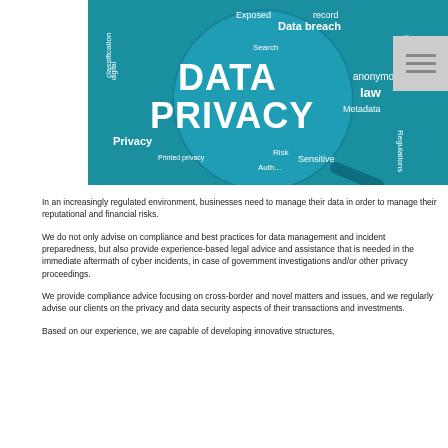[Figure (illustration): A word cloud image on a teal/blue background featuring DATA PRIVACY in large bold 3D white letters, surrounded by related terms: Data breach, Exposed, record, Protection, digital, classification, Search, anonymous, law, Metadata, Privacy, Printed privacy, Risk, Sensitive, Authentication, Regulations]
In an increasingly regulated environment, businesses need to manage their data in order to manage their reputational and financial risks.
We do not only advise on compliance and best practices for data management and incident preparedness, but also provide experience-based legal advice and assistance that is needed in the immediate aftermath of cyber incidents, in case of government investigations and/or other privacy proceedings.
We provide compliance advice focusing on cross-border and novel matters and issues, and we regularly advise our clients on the privacy and data security aspects of their transactions and investments.
Based on our experience, we are capable of developing innovative structures,